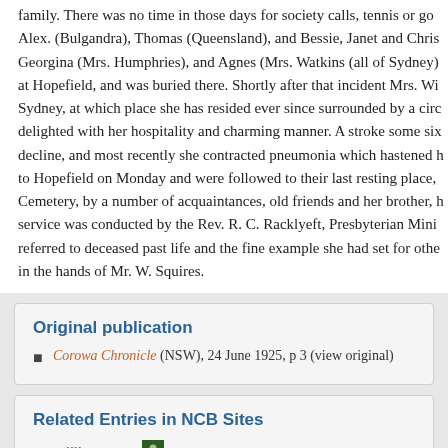family. There was no time in those days for society calls, tennis or go Alex. (Bulgandra), Thomas (Queensland), and Bessie, Janet and Chris Georgina (Mrs. Humphries), and Agnes (Mrs. Watkins (all of Sydney) at Hopefield, and was buried there. Shortly after that incident Mrs. Wi Sydney, at which place she has resided ever since surrounded by a circ delighted with her hospitality and charming manner. A stroke some six decline, and most recently she contracted pneumonia which hastened h to Hopefield on Monday and were followed to their last resting place, Cemetery, by a number of acquaintances, old friends and her brother, h service was conducted by the Rev. R. C. Racklyeft, Presbyterian Mini referred to deceased past life and the fine example she had set for othe in the hands of Mr. W. Squires.
Original publication
Corowa Chronicle (NSW), 24 June 1925, p 3 (view original)
Related Entries in NCB Sites
Willis, Janet